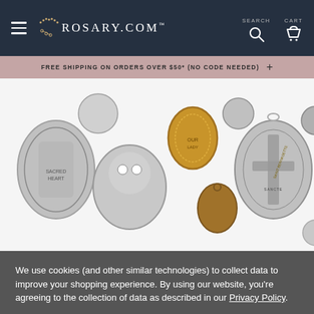ROSARY.COM — Navigation header with hamburger menu, logo, search and cart icons
FREE SHIPPING ON ORDERS OVER $50* (NO CODE NEEDED) +
[Figure (photo): A collection of various Catholic saint medals and medallions in silver, gold, and bronze finishes arranged on a white background. Medals include Sacred Heart, Saint Bernadette, Saint Benedict cross medal, and others.]
We use cookies (and other similar technologies) to collect data to improve your shopping experience. By using our website, you're agreeing to the collection of data as described in our Privacy Policy.
Dismiss